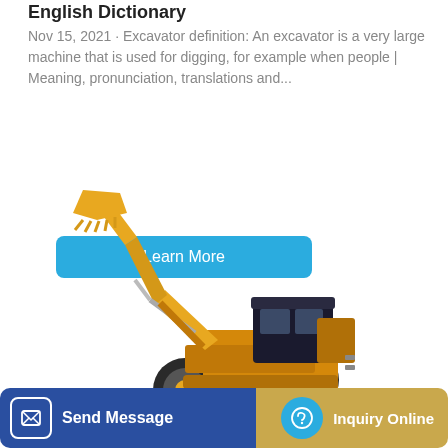English Dictionary
Nov 15, 2021 · Excavator definition: An excavator is a very large machine that is used for digging, for example when people | Meaning, pronunciation, translations and...
Learn More
[Figure (photo): Yellow wheel loader / front-end loader construction vehicle with raised bucket arm, shown on white background]
Send Message
Inquiry Online